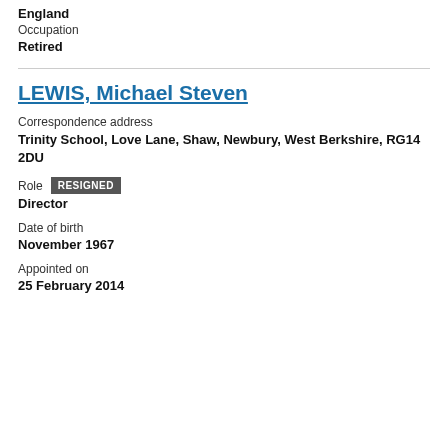England
Occupation
Retired
LEWIS, Michael Steven
Correspondence address
Trinity School, Love Lane, Shaw, Newbury, West Berkshire, RG14 2DU
Role   RESIGNED
Director
Date of birth
November 1967
Appointed on
25 February 2014